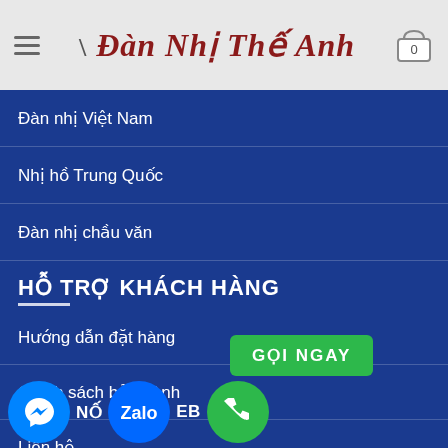Đàn Nhị Thế Anh
Đàn nhị Việt Nam
Nhị hồ Trung Quốc
Đàn nhị chầu văn
HỖ TRỢ KHÁCH HÀNG
Hướng dẫn đặt hàng
Chính sách bảo hành
Liên hệ
GỌI NGAY
NỐI KẾT WEB